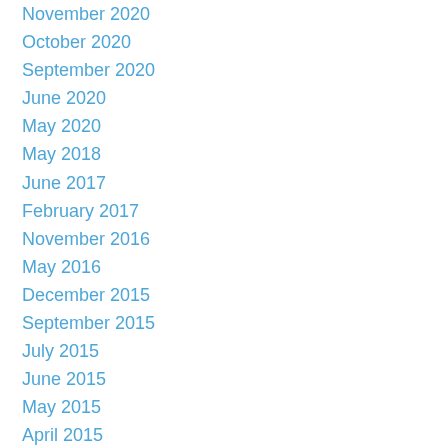November 2020
October 2020
September 2020
June 2020
May 2020
May 2018
June 2017
February 2017
November 2016
May 2016
December 2015
September 2015
July 2015
June 2015
May 2015
April 2015
March 2015
January 2015
December 2014
November 2014
October 2014